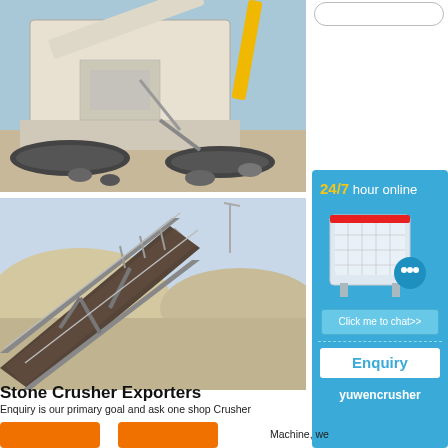[Figure (photo): Mobile stone crusher machine on tracks, white and yellow, working at a construction/mining site, blue sky background]
[Figure (photo): Conveyor belt system on an incline at a quarry/mining site with sand mounds in the background]
Stone Crusher Exporters
Enquiry is our primary goal and ask one shop Crusher Machine, we
[Figure (screenshot): Right sidebar with search bar, 24/7 hour online chat widget showing a crusher machine image with a chat bubble, Click me to chat>> button, Enquiry button, and yuwencrusher branding]
yuwencrusher